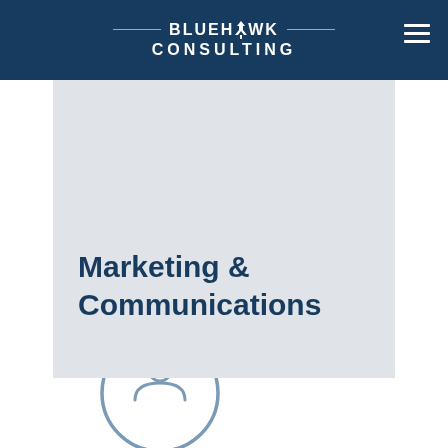BLUEHAWK CONSULTING
Marketing & Communications
[Figure (illustration): Partial circle icon with a lightbulb or person silhouette symbol inside, rendered in light steel blue outline style, partially visible at bottom of page]